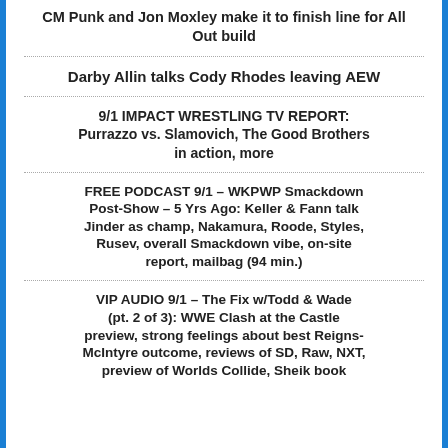CM Punk and Jon Moxley make it to finish line for All Out build
Darby Allin talks Cody Rhodes leaving AEW
9/1 IMPACT WRESTLING TV REPORT: Purrazzo vs. Slamovich, The Good Brothers in action, more
FREE PODCAST 9/1 – WKPWP Smackdown Post-Show – 5 Yrs Ago: Keller & Fann talk Jinder as champ, Nakamura, Roode, Styles, Rusev, overall Smackdown vibe, on-site report, mailbag (94 min.)
VIP AUDIO 9/1 – The Fix w/Todd & Wade (pt. 2 of 3): WWE Clash at the Castle preview, strong feelings about best Reigns-McIntyre outcome, reviews of SD, Raw, NXT, preview of Worlds Collide, Sheik book